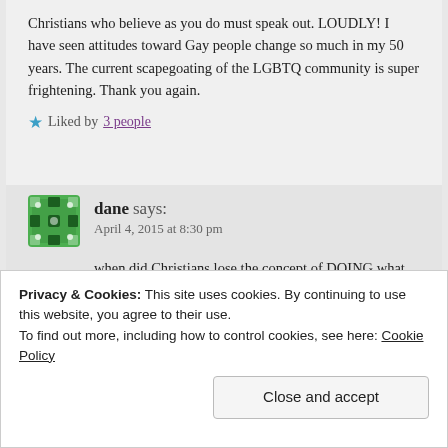Christians who believe as you do must speak out. LOUDLY! I have seen attitudes toward Gay people change so much in my 50 years. The current scapegoating of the LGBTQ community is super frightening. Thank you again.
★ Liked by 3 people
dane says: April 4, 2015 at 8:30 pm
when did Christians lose the concept of DOING what Jesus asked them to do? way back when jesus taught! “why do you call me your lord and you do not do what i say???” oh us christians!!! will we ever get it?
Privacy & Cookies: This site uses cookies. By continuing to use this website, you agree to their use. To find out more, including how to control cookies, see here: Cookie Policy
Close and accept